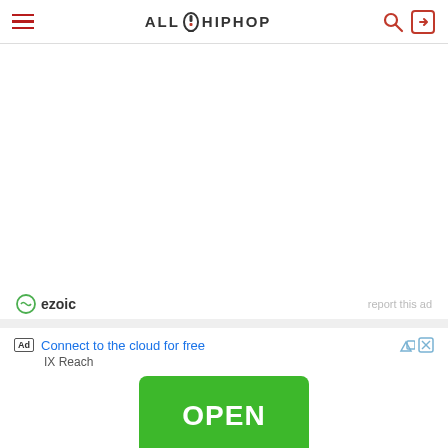AllHipHop navigation header with hamburger menu, logo, search and login icons
[Figure (other): Empty white content area (ad placeholder)]
ezoic   report this ad
Ad  Connect to the cloud for free   IX Reach   OPEN